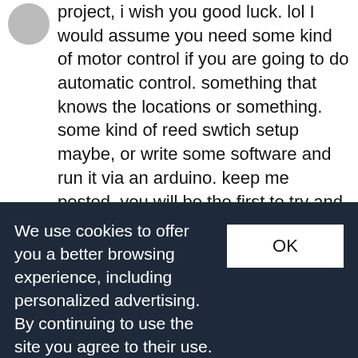project, i wish you good luck. lol I would assume you need some kind of motor control if you are going to do automatic control. something that knows the locations or something. some kind of reed swtich setup maybe, or write some software and run it via an arduino. keep me posted. you will be the first to try and automate!! :D
baldylox The wood chip model is longer and the openings are larger to accommodate the much taller wood-chip cars. All I can say about the
We use cookies to offer you a better browsing experience, including personalized advertising. By continuing to use the site you agree to their use. Learn more